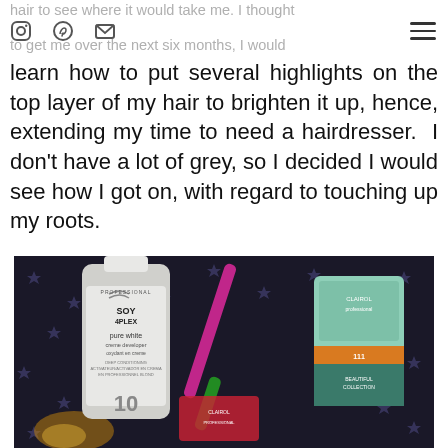hair to see where it would take me. I thought to get me over the next six months, I would
learn how to put several highlights on the top layer of my hair to brighten it up, hence, extending my time to need a hairdresser. I don't have a lot of grey, so I decided I would see how I got on, with regard to touching up my roots.
[Figure (photo): Photo of hair colouring products on a dark star-patterned background: a white bottle of Soy 4Plex Pure White Creme Developer 10 oxydant en creme, a pink/green brush or applicator, and a box of hair colour product.]